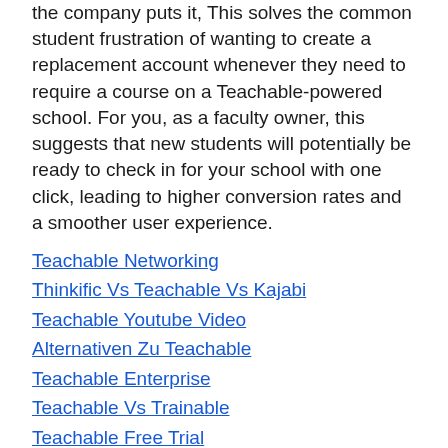the company puts it, This solves the common student frustration of wanting to create a replacement account whenever they need to require a course on a Teachable-powered school. For you, as a faculty owner, this suggests that new students will potentially be ready to check in for your school with one click, leading to higher conversion rates and a smoother user experience.
Teachable Networking
Thinkific Vs Teachable Vs Kajabi
Teachable Youtube Video
Alternativen Zu Teachable
Teachable Enterprise
Teachable Vs Trainable
Teachable Free Trial